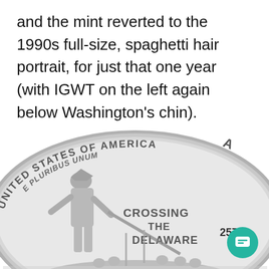and the mint reverted to the 1990s full-size, spaghetti hair portrait, for just that one year (with IGWT on the left again below Washington's chin).
[Figure (photo): Close-up photograph of the reverse side of a US quarter coin showing 'CROSSING THE DELAWARE' design with UNITED STATES OF AMERICA and E PLURIBUS UNUM inscriptions, featuring Washington crossing the Delaware River scene.]